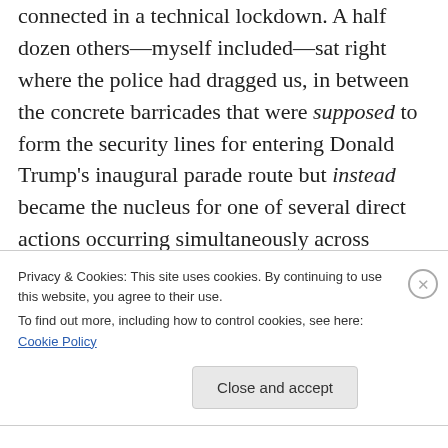connected in a technical lockdown. A half dozen others—myself included—sat right where the police had dragged us, in between the concrete barricades that were supposed to form the security lines for entering Donald Trump's inaugural parade route but instead became the nucleus for one of several direct actions occurring simultaneously across downtown DC. A few dozen others flanked us, chanting slogans and waving signs amidst the tumultuous opening salvo against the President's Inauguration. The goal of The Future is Feminist, the non-
Privacy & Cookies: This site uses cookies. By continuing to use this website, you agree to their use.
To find out more, including how to control cookies, see here: Cookie Policy
Close and accept